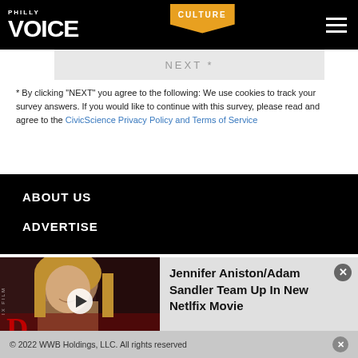PHILLY VOICE | CULTURE
NEXT *
* By clicking "NEXT" you agree to the following: We use cookies to track your survey answers. If you would like to continue with this survey, please read and agree to the CivicScience Privacy Policy and Terms of Service
ABOUT US
ADVERTISE
[Figure (photo): Thumbnail of Jennifer Aniston with a play button overlay, from a video promo]
Jennifer Aniston/Adam Sandler Team Up In New Netlfix Movie
© 2022 WWB Holdings, LLC. All rights reserved